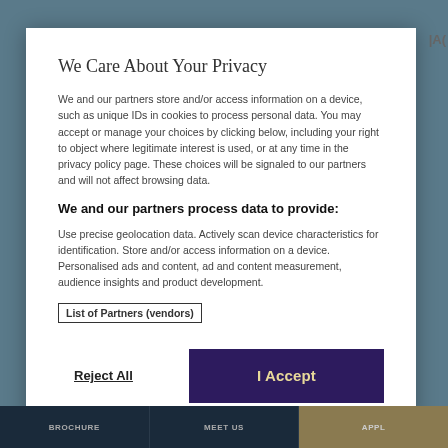We Care About Your Privacy
We and our partners store and/or access information on a device, such as unique IDs in cookies to process personal data. You may accept or manage your choices by clicking below, including your right to object where legitimate interest is used, or at any time in the privacy policy page. These choices will be signaled to our partners and will not affect browsing data.
We and our partners process data to provide:
Use precise geolocation data. Actively scan device characteristics for identification. Store and/or access information on a device. Personalised ads and content, ad and content measurement, audience insights and product development.
List of Partners (vendors)
Reject All
I Accept
Show Purposes